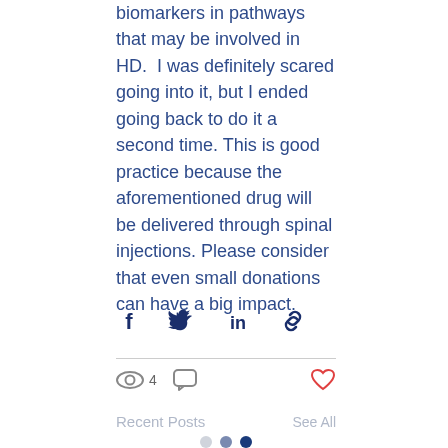biomarkers in pathways that may be involved in HD.  I was definitely scared going into it, but I ended going back to do it a second time. This is good practice because the aforementioned drug will be delivered through spinal injections. Please consider that even small donations can have a big impact.
[Figure (infographic): Social share icons: Facebook (f), Twitter (bird), LinkedIn (in), and a link/chain icon, arranged horizontally]
[Figure (infographic): Engagement stats bar: eye icon with count 4, comment bubble icon; heart icon on the right]
Recent Posts
See All
[Figure (infographic): Three navigation dots: light gray, medium blue, dark blue]